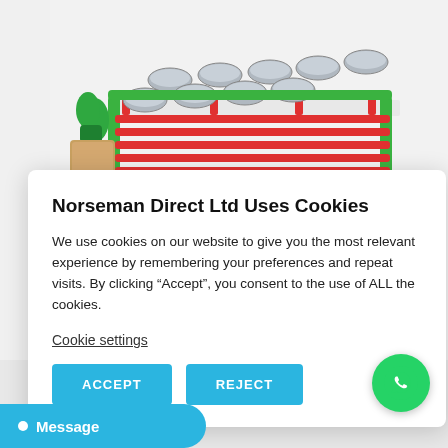[Figure (photo): A green and red metal trolley/cart with stainless steel bowls on top shelf and lower shelf, on wheels. Appears to be a catering or medical trolley with oven mitts hanging on the side.]
Norseman Direct Ltd Uses Cookies
We use cookies on our website to give you the most relevant experience by remembering your preferences and repeat visits. By clicking “Accept”, you consent to the use of ALL the cookies.
Cookie settings
ACCEPT
REJECT
3)
[Figure (logo): WhatsApp circular green button with phone handset icon]
Message